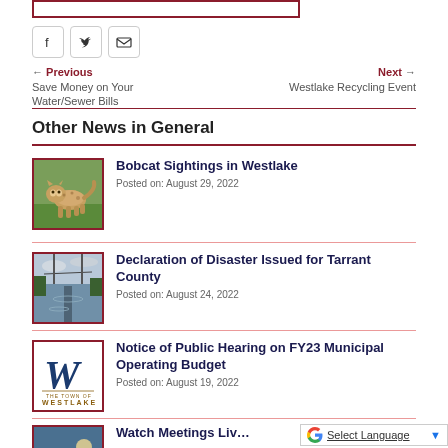[Figure (other): Social media sharing icons: Facebook, Twitter, Email]
← Previous
Save Money on Your Water/Sewer Bills
Next →
Westlake Recycling Event
Other News in General
[Figure (photo): Photo of a bobcat standing in grass]
Bobcat Sightings in Westlake
Posted on: August 29, 2022
[Figure (photo): Photo of a flooded road with power lines]
Declaration of Disaster Issued for Tarrant County
Posted on: August 24, 2022
[Figure (logo): Westlake Town logo with stylized W]
Notice of Public Hearing on FY23 Municipal Operating Budget
Posted on: August 19, 2022
[Figure (photo): Partial thumbnail photo for Watch Meetings Live article]
Watch Meetings Liv…
Select Language